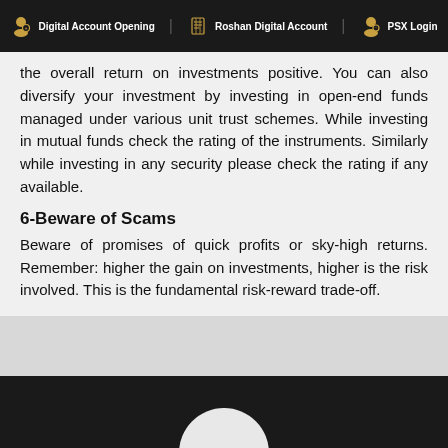Digital Account Opening | Roshan Digital Account | PSX Login
the overall return on investments positive. You can also diversify your investment by investing in open-end funds managed under various unit trust schemes. While investing in mutual funds check the rating of the instruments. Similarly while investing in any security please check the rating if any available.
6-Beware of Scams
Beware of promises of quick profits or sky-high returns. Remember: higher the gain on investments, higher is the risk involved. This is the fundamental risk-reward trade-off.